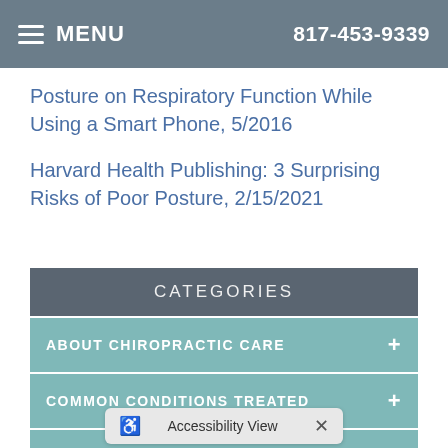MENU   817-453-9339
Posture on Respiratory Function While Using a Smart Phone, 5/2016
Harvard Health Publishing: 3 Surprising Risks of Poor Posture, 2/15/2021
CATEGORIES
ABOUT CHIROPRACTIC CARE
COMMON CONDITIONS TREATED
HEALTH & WELLNESS
THERAPIES & TECHNIQUES
Accessibility View